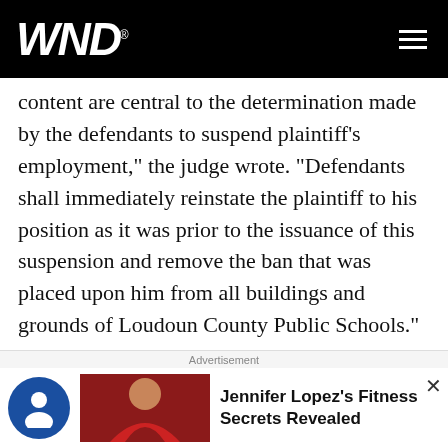WND
content are central to the determination made by the defendants to suspend plaintiff's employment," the judge wrote. "Defendants shall immediately reinstate the plaintiff to his position as it was prior to the issuance of this suspension and remove the ban that was placed upon him from all buildings and grounds of Loudoun County Public Schools."

The Grants Pass district held hearings for both on Thursday, voting then to dismiss them.

The Fox report explained, "Around 65 people protested
[Figure (screenshot): Advertisement banner at the bottom of the page with an accessibility icon, a thumbnail photo of a woman, and the text 'Jennifer Lopez's Fitness Secrets Revealed'. A close/dismiss button (x) appears in the top right corner of the ad.]